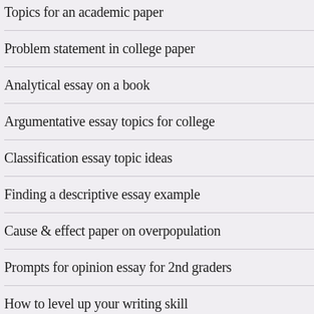Topics for an academic paper
Problem statement in college paper
Analytical essay on a book
Argumentative essay topics for college
Classification essay topic ideas
Finding a descriptive essay example
Cause & effect paper on overpopulation
Prompts for opinion essay for 2nd graders
How to level up your writing skill
There
The In
This is
is the b
trying
The in
appro
Body
This is
main p
author
There
interp
and no